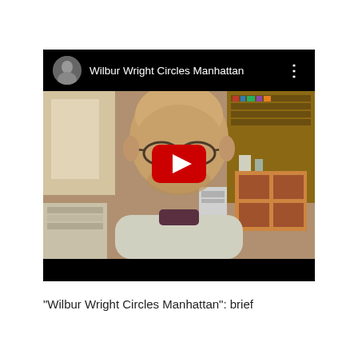[Figure (screenshot): YouTube video thumbnail screenshot showing a bald man with glasses smiling, sitting in a cluttered home office/living room. The YouTube player interface shows the title 'Wilbur Wright Circles Manhattan', a small avatar thumbnail in the top left, a three-dot menu icon, and a red YouTube play button in the center.]
"Wilbur Wright Circles Manhattan": brief